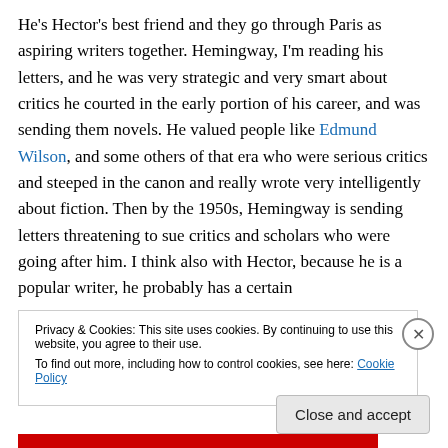He's Hector's best friend and they go through Paris as aspiring writers together. Hemingway, I'm reading his letters, and he was very strategic and very smart about critics he courted in the early portion of his career, and was sending them novels. He valued people like Edmund Wilson, and some others of that era who were serious critics and steeped in the canon and really wrote very intelligently about fiction. Then by the 1950s, Hemingway is sending letters threatening to sue critics and scholars who were going after him. I think also with Hector, because he is a popular writer, he probably has a certain
Privacy & Cookies: This site uses cookies. By continuing to use this website, you agree to their use.
To find out more, including how to control cookies, see here: Cookie Policy